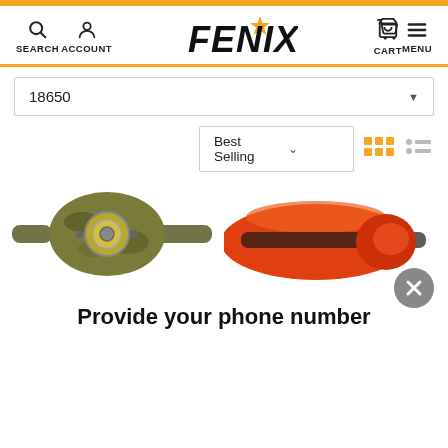SEARCH  ACCOUNT  FENIX  CART  MENU
18650
Best Selling
[Figure (photo): Partial view of two headlamps — left: olive/camo colored headlamp, right: orange/red colored headlamp]
Provide your phone number